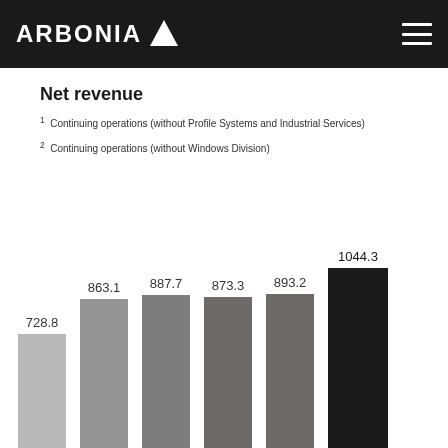ARBONIA
Net revenue
1 Continuing operations (without Profile Systems and Industrial Services)
2 Continuing operations (without Windows Division)
[Figure (bar-chart): Net revenue]